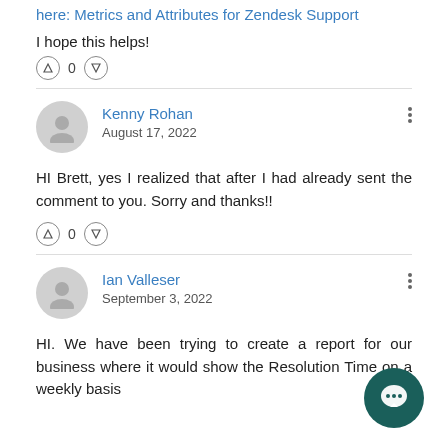here: Metrics and Attributes for Zendesk Support
I hope this helps!
0
Kenny Rohan
August 17, 2022
HI Brett, yes I realized that after I had already sent the comment to you. Sorry and thanks!!
0
Ian Valleser
September 3, 2022
HI. We have been trying to create a report for our business where it would show the Resolution Time on a weekly basis